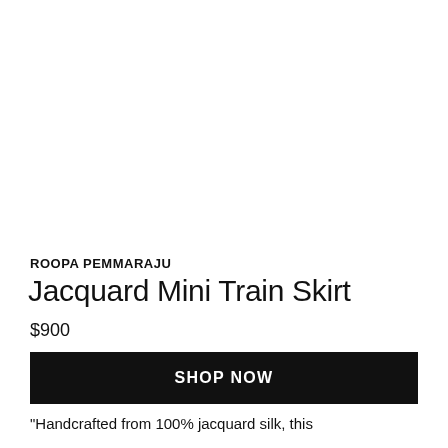[Figure (photo): White background product image area (product image not visible in this crop)]
ROOPA PEMMARAJU
Jacquard Mini Train Skirt
$900
SHOP NOW
"Handcrafted from 100% jacquard silk, this